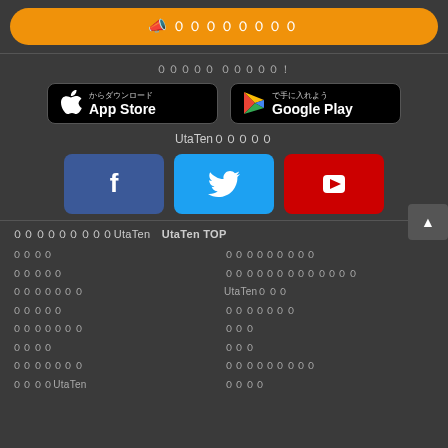📣 ００００００００
０００００ ０００００！
[Figure (screenshot): App Store download button (black, rounded rectangle with Apple logo)]
[Figure (screenshot): Google Play download button (black, rounded rectangle with Play logo)]
UtaTen０００００
[Figure (screenshot): Facebook social button (blue)]
[Figure (screenshot): Twitter social button (light blue)]
[Figure (screenshot): YouTube social button (red)]
０００００００００UtaTen　UtaTen TOP
００００
０００００
０００００００
０００００
０００００００
００００
０００００００
００００UtaTen
０００００００００
０００００００００００００
UtaTen０００
０００００００
０００
０００
０００００００００
００００